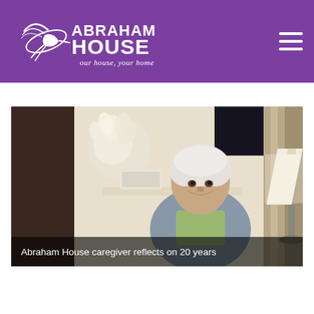ABRAHAM HOUSE – our house, your home
[Figure (photo): Elderly woman with white hair smiling, seated in a bedroom with flowers in the background and a lamp on the right side.]
Abraham House caregiver reflects on 20 years